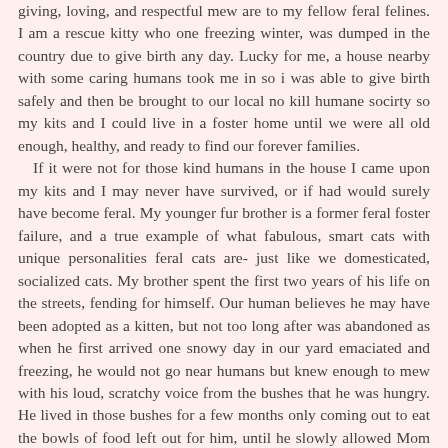giving, loving, and respectful mew are to my fellow feral felines. I am a rescue kitty who one freezing winter, was dumped in the country due to give birth any day. Lucky for me, a house nearby with some caring humans took me in so i was able to give birth safely and then be brought to our local no kill humane socirty so my kits and I could live in a foster home until we were all old enough, healthy, and ready to find our forever families. If it were not for those kind humans in the house I came upon my kits and I may never have survived, or if had would surely have become feral. My younger fur brother is a former feral foster failure, and a true example of what fabulous, smart cats with unique personalities feral cats are- just like we domesticated, socialized cats. My brother spent the first two years of his life on the streets, fending for himself. Our human believes he may have been adopted as a kitten, but not too long after was abandoned as when he first arrived one snowy day in our yard emaciated and freezing, he would not go near humans but knew enough to mew with his loud, scratchy voice from the bushes that he was hungry. He lived in those bushes for a few months only coming out to eat the bowls of food left out for him, until he slowly allowed Mom to get closer and closer, then lightly